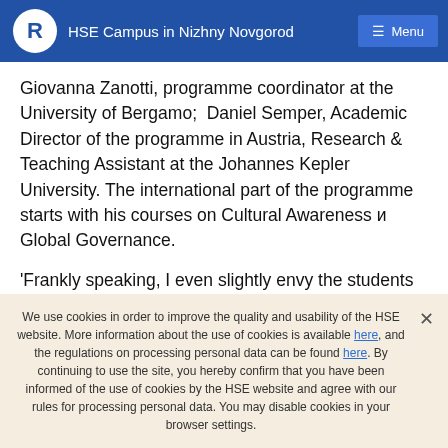HSE Campus in Nizhny Novgorod  Menu
Giovanna Zanotti, programme coordinator at the University of Bergamo;  Daniel Semper, Academic Director of the programme in Austria, Research & Teaching Assistant at the Johannes Kepler University. The international part of the programme starts with his courses on Cultural Awareness и Global Governance.
'Frankly speaking, I even slightly envy the students of this programme. Of course, they will have to work hard, but it's not just about the study or business, it's about
We use cookies in order to improve the quality and usability of the HSE website. More information about the use of cookies is available here, and the regulations on processing personal data can be found here. By continuing to use the site, you hereby confirm that you have been informed of the use of cookies by the HSE website and agree with our rules for processing personal data. You may disable cookies in your browser settings.